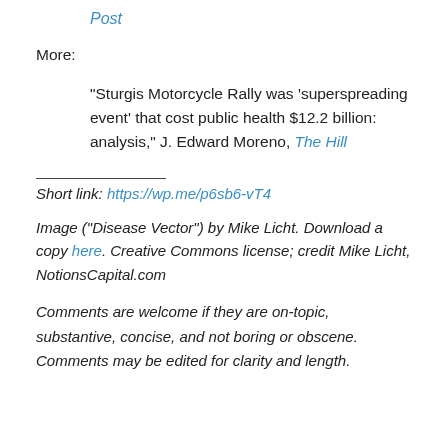Post
More:
“Sturgis Motorcycle Rally was ‘superspreading event’ that cost public health $12.2 billion: analysis,” J. Edward Moreno, The Hill
Short link: https://wp.me/p6sb6-vT4
Image (“Disease Vector”) by Mike Licht. Download a copy here. Creative Commons license; credit Mike Licht, NotionsCapital.com
Comments are welcome if they are on-topic, substantive, concise, and not boring or obscene. Comments may be edited for clarity and length.